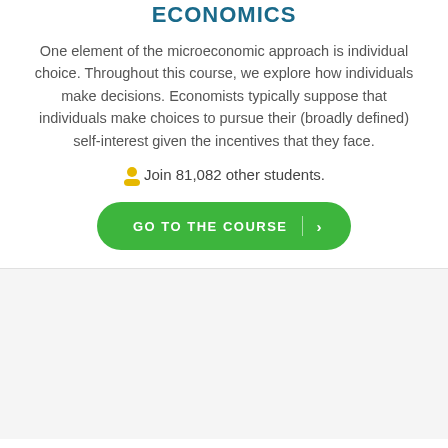ECONOMICS
One element of the microeconomic approach is individual choice. Throughout this course, we explore how individuals make decisions. Economists typically suppose that individuals make choices to pursue their (broadly defined) self-interest given the incentives that they face.
Join 81,082 other students.
[Figure (other): Green rounded button labeled GO TO THE COURSE with a right arrow]
[Figure (other): Light gray empty bottom section]